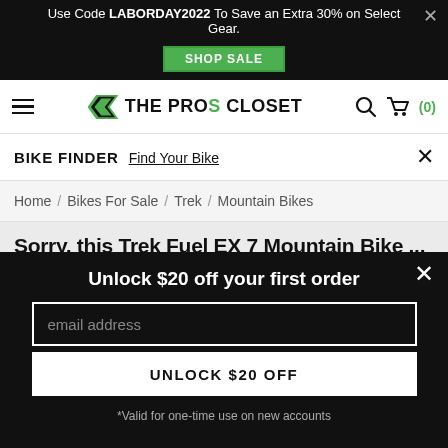Use Code LABORDAY2022 To Save an Extra 30% on Select Gear. SHOP SALE
[Figure (logo): The Pros Closet logo with navigation icons (hamburger menu, search, cart)]
BIKE FINDER  Find Your Bike
Home / Bikes For Sale / Trek / Mountain Bikes
Sorry, this Trek Fuel EX 7 Mountain Bike ...
Unlock $20 off your first order
email address
UNLOCK $20 OFF
*Valid for one-time use on new accounts